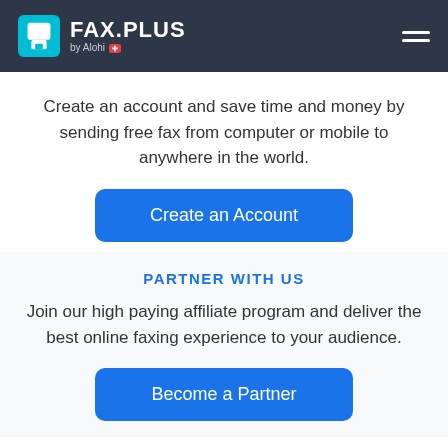FAX.PLUS by Alohi
Create an account and save time and money by sending free fax from computer or mobile to anywhere in the world.
[Figure (other): Blue 'Create an Account' button]
PARTNER WITH US
Join our high paying affiliate program and deliver the best online faxing experience to your audience.
[Figure (other): Blue 'Become a Partner' button]